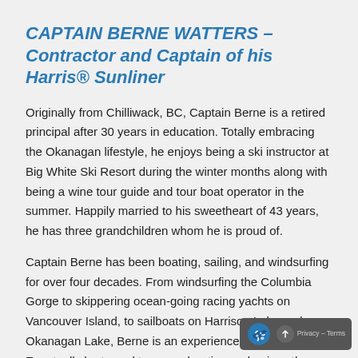CAPTAIN BERNE WATTERS – Contractor and Captain of his Harris® Sunliner
Originally from Chilliwack, BC, Captain Berne is a retired principal after 30 years in education. Totally embracing the Okanagan lifestyle, he enjoys being a ski instructor at Big White Ski Resort during the winter months along with being a wine tour guide and tour boat operator in the summer. Happily married to his sweetheart of 43 years, he has three grandchildren whom he is proud of.
Captain Berne has been boating, sailing, and windsurfing for over four decades. From windsurfing the Columbia Gorge to skippering ocean-going racing yachts on Vancouver Island, to sailboats on Harrison Lake and Okanagan Lake, Berne is an experienced captain. Eventually he turned to power boating and enjoys the pleasure of touring Okanagan L... with...